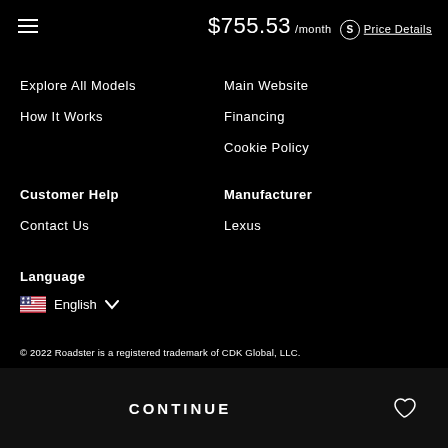$755.53 /month  Price Details
Explore All Models
How It Works
Main Website
Financing
Cookie Policy
Customer Help
Contact Us
Manufacturer
Lexus
Language
English
© 2022 Roadster is a registered trademark of CDK Global, LLC.
CONTINUE